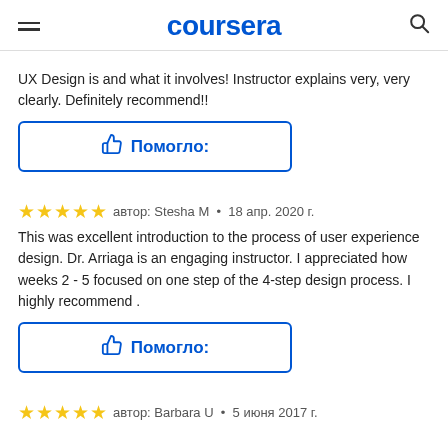coursera
UX Design is and what it involves! Instructor explains very, very clearly. Definitely recommend!!
[Figure (other): Helpful button with thumbs up icon and Russian text 'Помогло:']
автор: Stesha M • 18 апр. 2020 г.
This was excellent introduction to the process of user experience design. Dr. Arriaga is an engaging instructor. I appreciated how weeks 2 - 5 focused on one step of the 4-step design process. I highly recommend .
[Figure (other): Helpful button with thumbs up icon and Russian text 'Помогло:']
автор: Barbara U • 5 июня 2017 г.